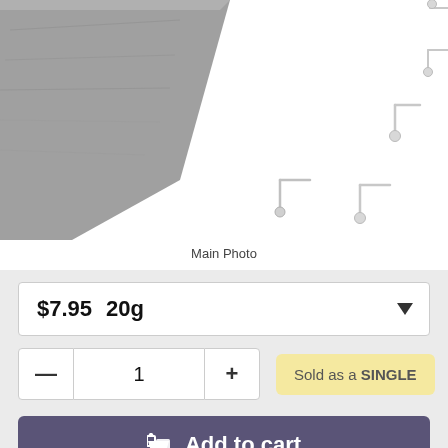[Figure (photo): Product photo of small L-shaped nose studs/nose rings in silver, scattered on a grey stone surface against a white background]
Main Photo
$7.95   20g
1   Sold as a SINGLE
Add to cart
or 4 interest-free installments of $1.99 by afterpay>